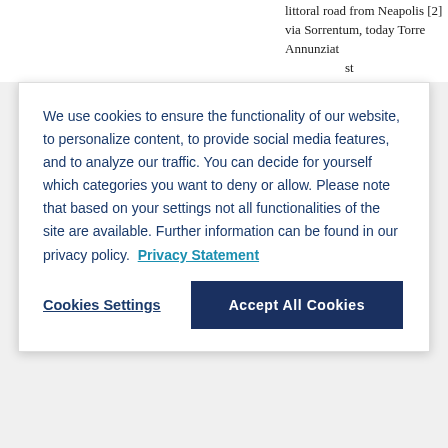littoral road from Neapolis [2] via Sorrentum, today Torre Annunziat... st... Ga... h-...
We use cookies to ensure the functionality of our website, to personalize content, to provide social media features, and to analyze our traffic. You can decide for yourself which categories you want to deny or allow. Please note that based on your settings not all functionalities of the site are available. Further information can be found in our privacy policy. Privacy Statement
Cookies Settings
Accept All Cookies
Author(s): Gargini, Michela (
[German version] This item can be... Theatre | Villa | Coloniae | Regio, reg... extreme south of the Campi Phlegr... the Bay of Naples, as does the Prom... della Campanella) to the east. Acco... 234ff.) M. was named after Aeneas'... there. According to Strabo (1,2,18; 5,...